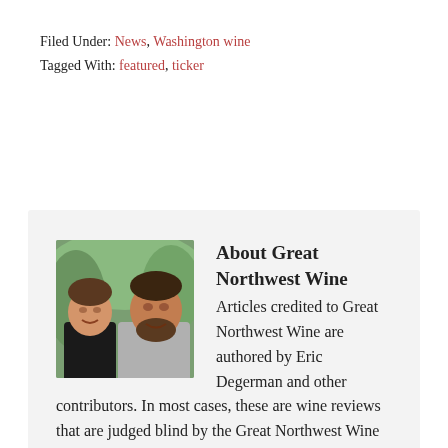Filed Under: News, Washington wine
Tagged With: featured, ticker
[Figure (photo): Photo of two men, the Great Northwest Wine authors, smiling outdoors with green foliage background.]
About Great Northwest Wine Articles credited to Great Northwest Wine are authored by Eric Degerman and other contributors. In most cases, these are wine reviews that are judged blind by the Great Northwest Wine tasting panel.